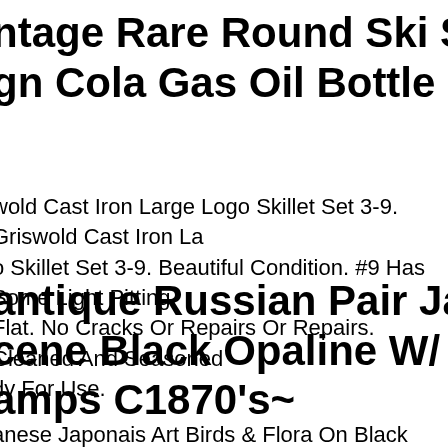ntage Rare Round Ski Soda Metal gn Cola Gas Oil Bottle
wold Cast Iron Large Logo Skillet Set 3-9. Griswold Cast Iron La o Skillet Set 3-9. Beautiful Condition. #9 Has Some Light Pitting Flat. No Cracks Or Repairs Or Repairs. Cleaned And Seasoned dy For Use.
antique Russian Pair Japanese cene Black Opaline W/ Birds Gas amps C1870's~
anese Japonais Art Birds & Flora On Black Opaline Ground.